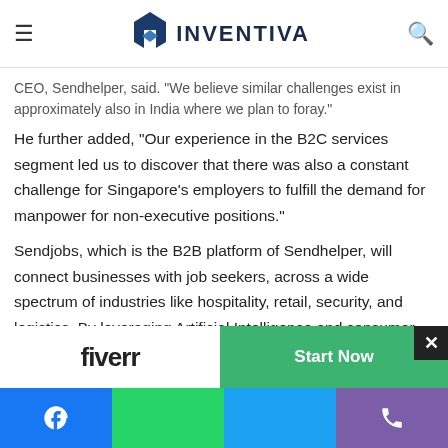Inventiva — navigation bar with hamburger menu, logo, and search icon
CEO, Sendhelper, said. "We believe similar challenges exist in approximately also in India where we plan to foray."
He further added, "Our experience in the B2C services segment led us to discover that there was also a constant challenge for Singapore's employers to fulfill the demand for manpower for non-executive positions."
Sendjobs, which is the B2B platform of Sendhelper, will connect businesses with job seekers, across a wide spectrum of industries like hospitality, retail, security, and logistics. By leveraging Artificial Intelligence and consumer behavior insight, the platform will match right employers with the right kind of workers.
The platform already has more than 500 employers onboard in Singapore alone within a period of just five months.